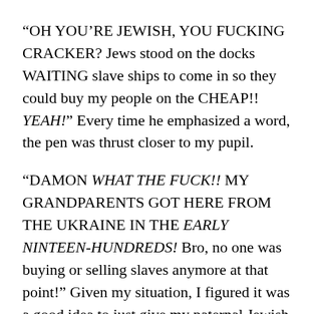“OH YOU’RE JEWISH, YOU FUCKING CRACKER? Jews stood on the docks WAITING slave ships to come in so they could buy my people on the CHEAP!! YEAH!” Every time he emphasized a word, the pen was thrust closer to my pupil.
“DAMON WHAT THE FUCK!! MY GRANDPARENTS GOT HERE FROM THE UKRAINE IN THE EARLY NINTEEN-HUNDREDS! Bro, no one was buying or selling slaves anymore at that point!” Given my situation, I figured it was a good idea to just give my paternal Jewish background, and not get into the fact that my Cajun maternal side may or may not have had a little free help on the farm.
“I’m gonna take this fucking PEN and shove it